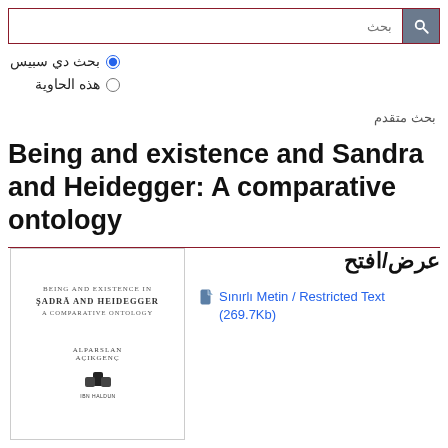بحث
بحث دي سبيس
هذه الحاوية
بحث متقدم
Being and existence and Sandra and Heidegger: A comparative ontology
[Figure (illustration): Book cover of 'Being and Existence in Sadra and Heidegger: A Comparative Ontology' by Alparslan Açıkgenç, published by Ibn Haldun University Press]
عرض/افتح
Sınırlı Metin / Restricted Text (269.7Kb)